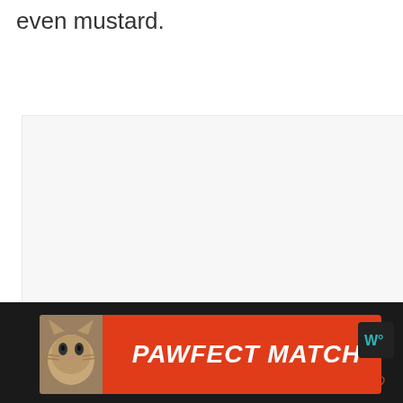even mustard.
[Figure (screenshot): Light gray content/image placeholder box]
[Figure (infographic): Heart/like button (teal circle with heart icon), count of 2, and share button]
[Figure (infographic): What's Next widget showing thumbnail and text 'How Long Does Tartar...']
[Figure (infographic): PAWFECT MATCH advertisement banner with cat image on dark background, close X button, and site logo]